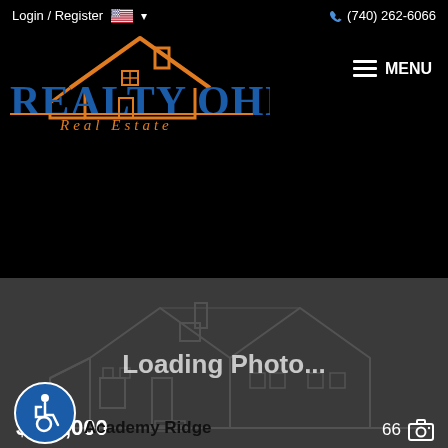Login / Register  (740) 262-6066
[Figure (logo): Realty Ohio Real Estate logo with orange house outline above blue text]
[Figure (photo): Loading Photo... placeholder showing a faint house outline silhouette on dark gray background, with price $499,000 bottom left and photo count 66 bottom right]
960 Reece Ridge Drive
GAHANNA, OH 43230
Academy Ridge